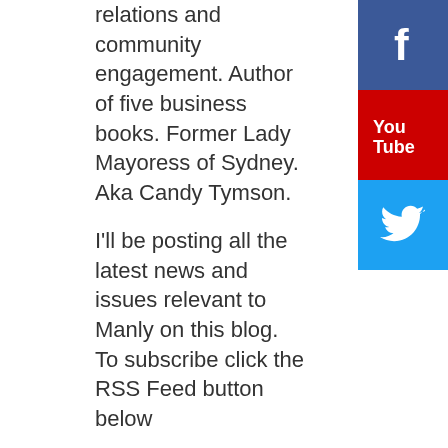relations and community engagement. Author of five business books. Former Lady Mayoress of Sydney. Aka Candy Tymson.
I'll be posting all the latest news and issues relevant to Manly on this blog.  To subscribe click the RSS Feed button below
RSS Feed
Categories
All
30kph Zone
Amalgamation
Art
Balgowlah
Bandicoots
[Figure (logo): Facebook social media button — blue square with white 'f' icon]
[Figure (logo): YouTube social media button — red square with 'You Tube' text]
[Figure (logo): Twitter social media button — light blue square with white bird icon]